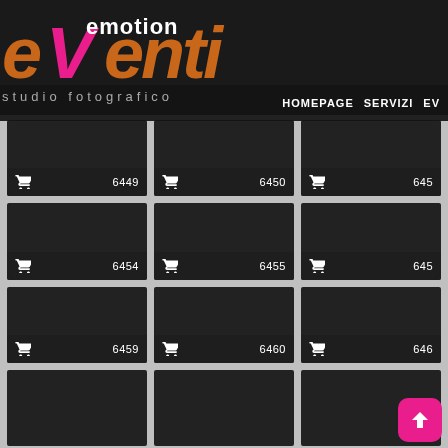[Figure (screenshot): eVenti emotion studio fotografico website screenshot showing a photo gallery grid. Navigation bar with HOMEPAGE, SERVIZI, EV... links. Logo with pink V and brown 'enti' text. Grid of dark photo tiles numbered 6445, 6449, 6450, 6454, 6455, 6459, 6460 with shopping cart icons. Pink upvote button in bottom right.]